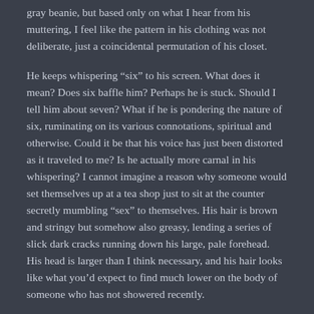gray beanie, but based only on what I hear from his muttering, I feel like the pattern in his clothing was not deliberate, just a coincidental permutation of his closet.
He keeps whispering “six” to his screen. What does it mean? Does six baffle him? Perhaps he is stuck. Should I tell him about seven? What if he is pondering the nature of six, ruminating on its various connotations, spiritual and otherwise. Could it be that his voice has just been distorted as it traveled to me? Is he actually more carnal in his whispering? I cannot imagine a reason why someone would set themselves up at a tea shop just to sit at the counter secretly mumbling “sex” to themselves. His hair is brown and stringy but somehow also greasy, lending a series of slick dark cracks running down his large, pale forehead. His head is larger than I think necessary, and his hair looks like what you’d expect to find much lower on the body of someone who has not showered recently.